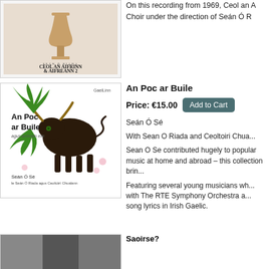[Figure (photo): Album cover for Ceol an Aifrinn & Aifreann 2 by Seán Ó Riada, showing a chalice and text]
On this recording from 1969, Ceol an Aifrinn, Choir under the direction of Seán Ó R...
[Figure (illustration): Album cover for An Poc ar Buile featuring a dark bull with green foliage, agus amhráin eile, Seán Ó Sé, le Seán Ó Riada agus Ceoltóirí Chualann]
An Poc ar Buile
Price: €15.00
Seán Ó Sé
With Sean O Riada and Ceoltoiri Chua...
Sean O Se contributed hugely to popular music at home and abroad – this collection brin...
Featuring several young musicians wh... with The RTE Symphony Orchestra a... song lyrics in Irish Gaelic.
[Figure (photo): Partial album cover image at bottom of page]
Saoirse?